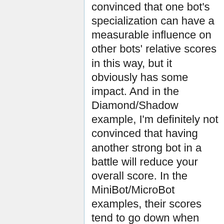convinced that one bot's specialization can have a measurable influence on other bots' relative scores in this way, but it obviously has some impact. And in the Diamond/Shadow example, I'm definitely not convinced that having another strong bot in a battle will reduce your overall score. In the MiniBot/MicroBot examples, their scores tend to go down when they get to all-mini/all-micro battles (i.e.,